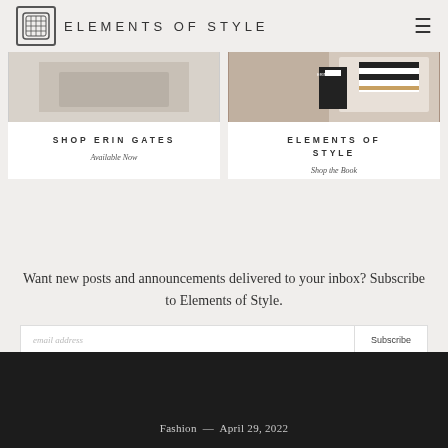ELEMENTS OF STYLE
SHOP ERIN GATES
Available Now
ELEMENTS OF STYLE
Shop the Book
Want new posts and announcements delivered to your inbox? Subscribe to Elements of Style.
email address | Subscribe
Fashion — April 29, 2022